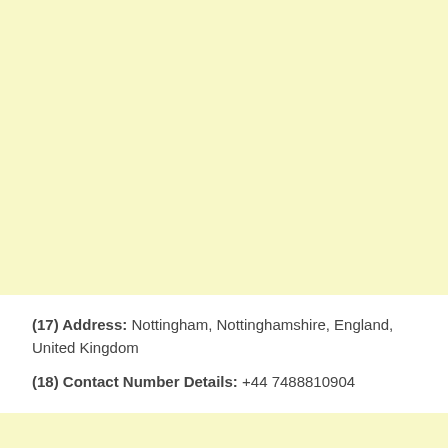(17) Address: Nottingham, Nottinghamshire, England, United Kingdom
(18) Contact Number Details: +44 7488810904